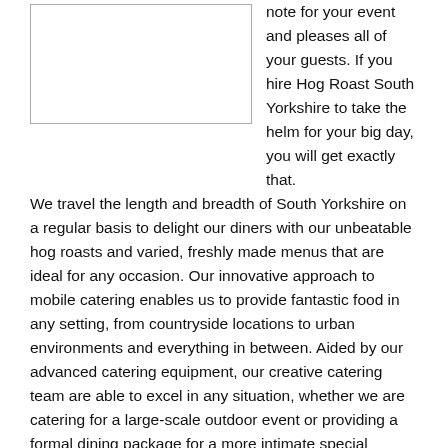[Figure (photo): Placeholder image box (empty, bordered rectangle)]
note for your event and pleases all of your guests. If you hire Hog Roast South Yorkshire to take the helm for your big day, you will get exactly that. We travel the length and breadth of South Yorkshire on a regular basis to delight our diners with our unbeatable hog roasts and varied, freshly made menus that are ideal for any occasion. Our innovative approach to mobile catering enables us to provide fantastic food in any setting, from countryside locations to urban environments and everything in between. Aided by our advanced catering equipment, our creative catering team are able to excel in any situation, whether we are catering for a large-scale outdoor event or providing a formal dining package for a more intimate special occasion.
Exciting Menus Designed To Suit All Tastebuds
Not only are we able to
[Figure (photo): Photo of food being served in catering trays, a person serving hog roast]